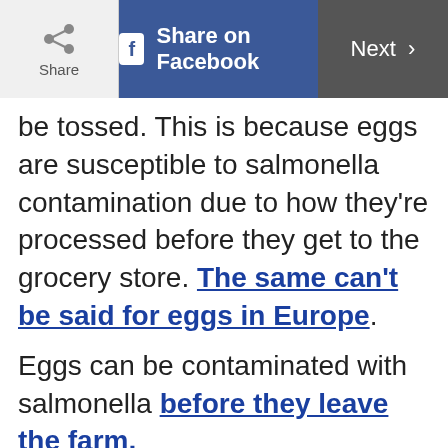Share | Share on Facebook | Next >
be tossed. This is because eggs are susceptible to salmonella contamination due to how they're processed before they get to the grocery store. The same can't be said for eggs in Europe.
Eggs can be contaminated with salmonella before they leave the farm,
Do you want our Top stories of the day delivered to your inbox?
YES PLEASE!
NO THANKS